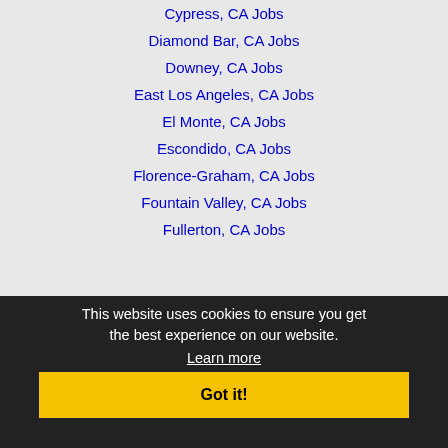Cypress, CA Jobs
Diamond Bar, CA Jobs
Downey, CA Jobs
East Los Angeles, CA Jobs
El Monte, CA Jobs
Escondido, CA Jobs
Florence-Graham, CA Jobs
Fountain Valley, CA Jobs
Fullerton, CA Jobs
Garden Grove, CA Jobs
Gardena, CA Jobs
Glendale, CA Jobs
Glendora, CA Jobs
Hacienda Heights, CA Jobs
Hawthorne, CA Jobs
Hemet, CA Jobs
Highland, CA Jobs
Huntington Beach, CA Jobs
This website uses cookies to ensure you get the best experience on our website. Learn more Got it!